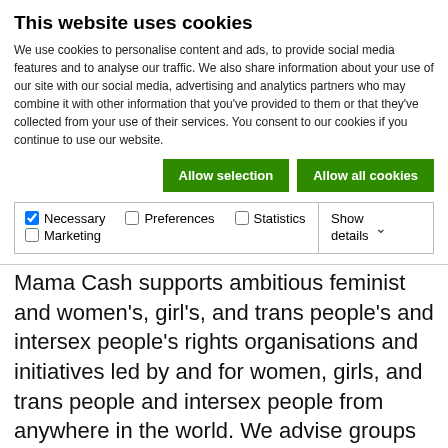This website uses cookies
We use cookies to personalise content and ads, to provide social media features and to analyse our traffic. We also share information about your use of our site with our social media, advertising and analytics partners who may combine it with other information that you've provided to them or that they've collected from your use of their services. You consent to our cookies if you continue to use our website.
Allow selection | Allow all cookies
| Necessary | Preferences | Statistics | Marketing | Show details |
| --- | --- | --- | --- | --- |
Mama Cash supports ambitious feminist and women's, girl's, and trans people's and intersex people's rights organisations and initiatives led by and for women, girls, and trans people and intersex people from anywhere in the world. We advise groups wishing to apply to closely consider the Mama Cash selection criteria and priority.
During the Resilience Fund LOI window, we are open